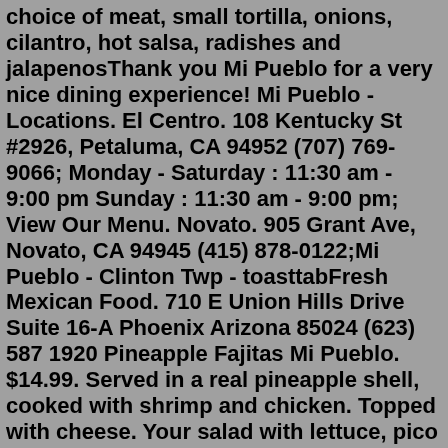choice of meat, small tortilla, onions, cilantro, hot salsa, radishes and jalapenosThank you Mi Pueblo for a very nice dining experience! Mi Pueblo - Locations. El Centro. 108 Kentucky St #2926, Petaluma, CA 94952 (707) 769-9066; Monday - Saturday : 11:30 am - 9:00 pm Sunday : 11:30 am - 9:00 pm; View Our Menu. Novato. 905 Grant Ave, Novato, CA 94945 (415) 878-0122;Mi Pueblo - Clinton Twp - toasttabFresh Mexican Food. 710 E Union Hills Drive Suite 16-A Phoenix Arizona 85024 (623) 587 1920 Pineapple Fajitas Mi Pueblo. $14.99. Served in a real pineapple shell, cooked with shrimp and chicken. Topped with cheese. Your salad with lettuce, pico de gallo, sour cream, guacamole and served with rice, beans, and tortillas.There are bunch of places near MI Pueblo El Restaurante giving great discounts. This discounts range from $ to $. The discount ought to provide you with a total of $. People online claim that MI Pueblo El Restaurante is . MI Pueblo El Restaurante also provides Healthy Restaurants cuisine, and no parking . FriendsEAT Members have